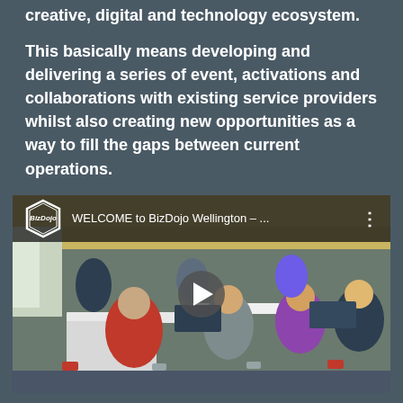creative, digital and technology ecosystem.
This basically means developing and delivering a series of event, activations and collaborations with existing service providers whilst also creating new opportunities as a way to fill the gaps between current operations.
[Figure (screenshot): YouTube video thumbnail showing BizDojo Wellington coworking space with people working at tables on laptops. Video title reads 'WELCOME to BizDojo Wellington – ...' with BizDojo hexagonal logo and a play button in the center.]